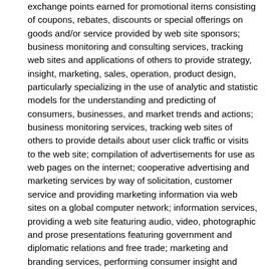exchange points earned for promotional items consisting of coupons, rebates, discounts or special offerings on goods and/or service provided by web site sponsors; business monitoring and consulting services, tracking web sites and applications of others to provide strategy, insight, marketing, sales, operation, product design, particularly specializing in the use of analytic and statistic models for the understanding and predicting of consumers, businesses, and market trends and actions; business monitoring services, tracking web sites of others to provide details about user click traffic or visits to the web site; compilation of advertisements for use as web pages on the internet; cooperative advertising and marketing services by way of solicitation, customer service and providing marketing information via web sites on a global computer network; information services, providing a web site featuring audio, video, photographic and prose presentations featuring government and diplomatic relations and free trade; marketing and branding services, performing consumer insight and brand strategy of company logos; marketing services, providing informational web pages designed to generate sales traffic via hyperlinks to other web sites; on-line consignment services whereby goods are received on consignment for auction on an online auction site; operating an on-line shopping site in the field of officially licensed collegians and professional clothing and